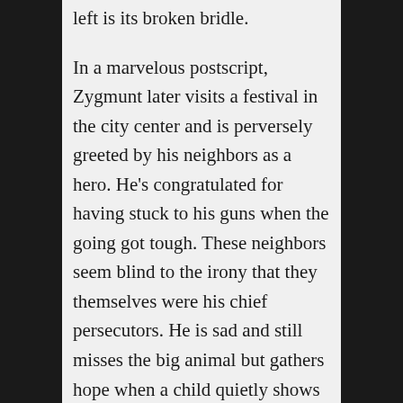left is its broken bridle. In a marvelous postscript, Zygmunt later visits a festival in the city center and is perversely greeted by his neighbors as a hero. He's congratulated for having stuck to his guns when the going got tough. These neighbors seem blind to the irony that they themselves were his chief persecutors. He is sad and still misses the big animal but gathers hope when a child quietly shows him a little plastic toy camel he has hidden in his jacket. The child seems to say, “Yes brother, I too harbor a